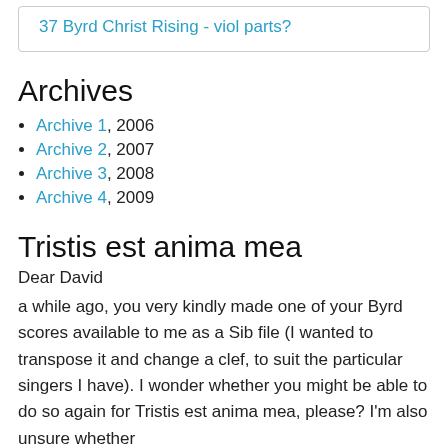37 Byrd Christ Rising - viol parts?
Archives
Archive 1, 2006
Archive 2, 2007
Archive 3, 2008
Archive 4, 2009
Tristis est anima mea
Dear David
a while ago, you very kindly made one of your Byrd scores available to me as a Sib file (I wanted to transpose it and change a clef, to suit the particular singers I have). I wonder whether you might be able to do so again for Tristis est anima mea, please? I'm also unsure whether